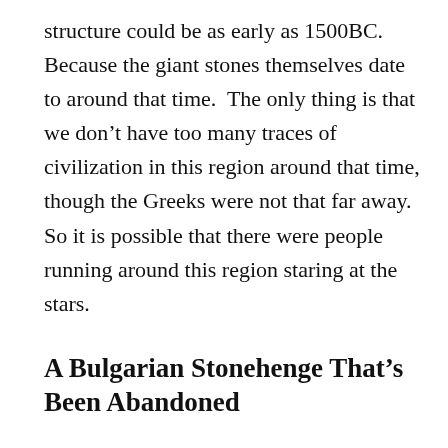structure could be as early as 1500BC. Because the giant stones themselves date to around that time.  The only thing is that we don't have too many traces of civilization in this region around that time, though the Greeks were not that far away. So it is possible that there were people running around this region staring at the stars.
A Bulgarian Stonehenge That's Been Abandoned